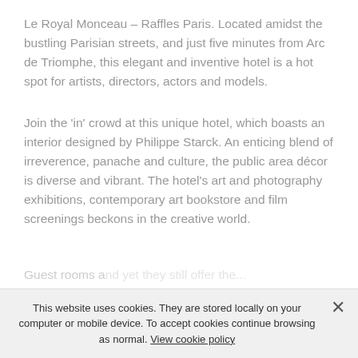Le Royal Monceau – Raffles Paris. Located amidst the bustling Parisian streets, and just five minutes from Arc de Triomphe, this elegant and inventive hotel is a hot spot for artists, directors, actors and models.
Join the 'in' crowd at this unique hotel, which boasts an interior designed by Philippe Starck. An enticing blend of irreverence, panache and culture, the public area décor is diverse and vibrant. The hotel's art and photography exhibitions, contemporary art bookstore and film screenings beckons in the creative world.
Guest rooms a... [truncated by cookie banner] ...yet they still offer the...
This website uses cookies. They are stored locally on your computer or mobile device. To accept cookies continue browsing as normal. View cookie policy